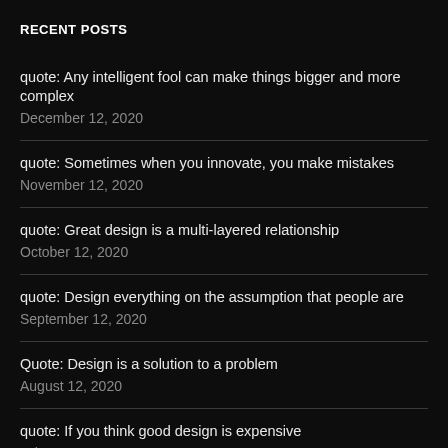RECENT POSTS
quote: Any intelligent fool can make things bigger and more complex
December 12, 2020
quote: Sometimes when you innovate, you make mistakes
November 12, 2020
quote: Great design is a multi-layered relationship
October 12, 2020
quote: Design everything on the assumption that people are
September 12, 2020
Quote: Design is a solution to a problem
August 12, 2020
quote: If you think good design is expensive
July 12, 2020
quote: It is not enough that we build products that function, that are